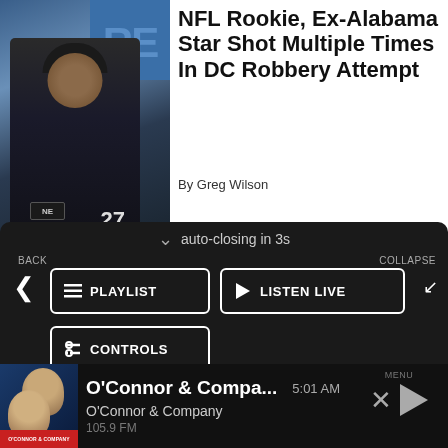[Figure (photo): Photo of an NFL player at a press conference wearing a black hat and jacket, number 27 visible, with a blue background sporting the letters RE]
NFL Rookie, Ex-Alabama Star Shot Multiple Times In DC Robbery Attempt
By Greg Wilson
[Figure (screenshot): Dark UI overlay panel showing auto-closing in 3s with BACK/COLLAPSE labels, PLAYLIST, LISTEN LIVE, and CONTROLS buttons, a Data opt-out toggle, and an ad banner area]
[Figure (screenshot): Bottom audio player bar showing O'Connor & Compa... at 5:01 AM, O'Connor & Company, 105.9 FM, with MENU, close and play buttons]